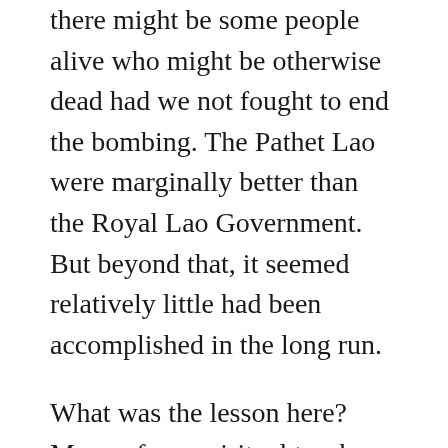there might be some people alive who might be otherwise dead had we not fought to end the bombing. The Pathet Lao were marginally better than the Royal Lao Government. But beyond that, it seemed relatively little had been accomplished in the long run.
What was the lesson here? Many of my spiritual teachers would say: We need to straighten ourselves out before we can straighten out society. But though I was experiencing, glimpses, getting flashes, I had not yet really understood.